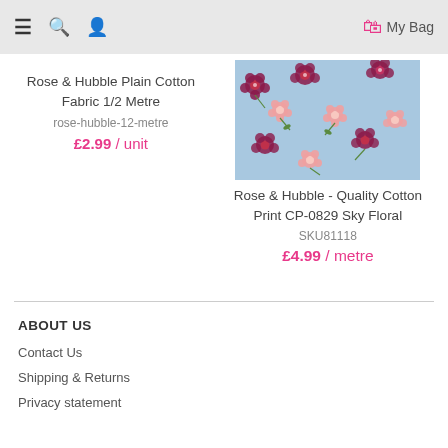≡ 🔍 👤   My Bag
Rose & Hubble Plain Cotton Fabric 1/2 Metre
rose-hubble-12-metre
£2.99 / unit
[Figure (photo): Floral cotton fabric print with pink and dark red flowers on a light blue background]
Rose & Hubble - Quality Cotton Print CP-0829 Sky Floral
SKU81118
£4.99 / metre
ABOUT US
Contact Us
Shipping & Returns
Privacy statement